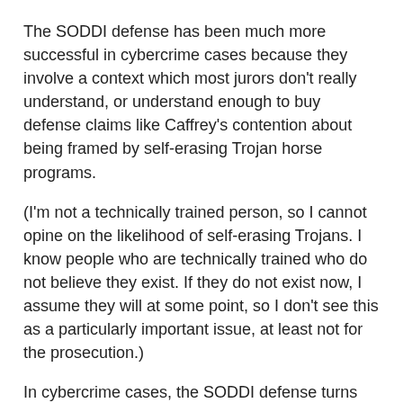The SODDI defense has been much more successful in cybercrime cases because they involve a context which most jurors don't really understand, or understand enough to buy defense claims like Caffrey's contention about being framed by self-erasing Trojan horse programs.
(I'm not a technically trained person, so I cannot opine on the likelihood of self-erasing Trojans. I know people who are technically trained who do not believe they exist. If they do not exist now, I assume they will at some point, so I don't see this as a particularly important issue, at least not for the prosecution.)
In cybercrime cases, the SODDI defense turns the tables on the prosecution: In a criminal case, the prosecution has the burden of proving all the elements of the crime beyond a reasonable doubt and the defense has the burden of proving an affirmative defense by a preponderance of the evidence.
The preponderance standard is much lower than the standard the prosecution must meet, but it